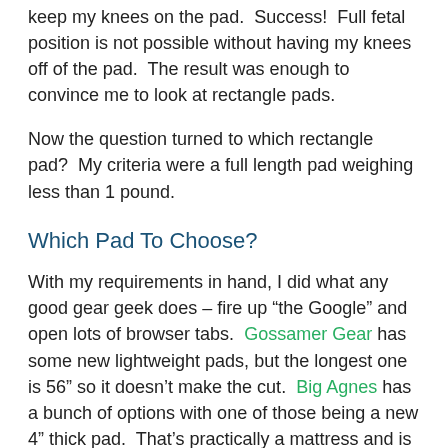keep my knees on the pad.  Success!  Full fetal position is not possible without having my knees off of the pad.  The result was enough to convince me to look at rectangle pads.
Now the question turned to which rectangle pad?  My criteria were a full length pad weighing less than 1 pound.
Which Pad To Choose?
With my requirements in hand, I did what any good gear geek does – fire up “the Google” and open lots of browser tabs.  Gossamer Gear has some new lightweight pads, but the longest one is 56” so it doesn’t make the cut.  Big Agnes has a bunch of options with one of those being a new 4” thick pad.  That’s practically a mattress and is that really camping? 🙂  The Therm-a-rest pads are lightweight and full length, but they have a